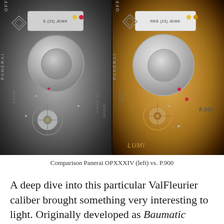[Figure (photo): Side-by-side comparison photograph of two Panerai watch movements: Panerai OPXXXIV on the left (silver/steel tone) and P.900 on the right (gold/rose tone). Both show the automatic movement through the case back with jewels, rotor, and engraved text visible.]
Comparison Panerai OPXXXIV (left) vs. P.900
A deep dive into this particular ValFleurier caliber brought something very interesting to light. Originally developed as Baumatic BM12-1975A for Richemont's entry-level